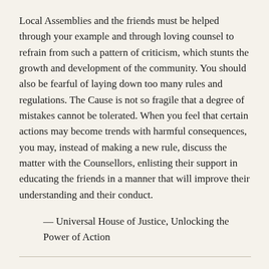Local Assemblies and the friends must be helped through your example and through loving counsel to refrain from such a pattern of criticism, which stunts the growth and development of the community. You should also be fearful of laying down too many rules and regulations. The Cause is not so fragile that a degree of mistakes cannot be tolerated. When you feel that certain actions may become trends with harmful consequences, you may, instead of making a new rule, discuss the matter with the Counsellors, enlisting their support in educating the friends in a manner that will improve their understanding and their conduct.
— Universal House of Justice, Unlocking the Power of Action
As you know, there can be many reasons for Assemblies not